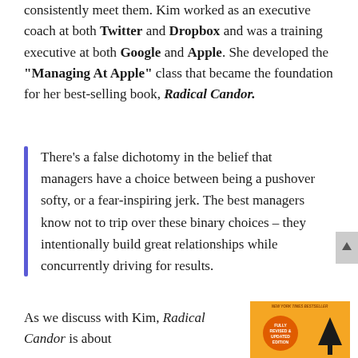consistently meet them. Kim worked as an executive coach at both Twitter and Dropbox and was a training executive at both Google and Apple. She developed the "Managing At Apple" class that became the foundation for her best-selling book, Radical Candor.
There's a false dichotomy in the belief that managers have a choice between being a pushover softy, or a fear-inspiring jerk. The best managers know not to trip over these binary choices – they intentionally build great relationships while concurrently driving for results.
As we discuss with Kim, Radical Candor is about
[Figure (photo): Book cover of Radical Candor with orange/yellow background showing 'New York Times Bestseller', 'Fully Revised & Updated Edition' text and an upward arrow]